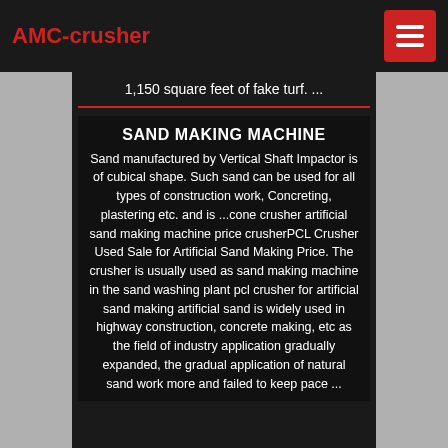AMC-crusher
1,150 square feet of fake turf. ...
SAND MAKING MACHINE
Sand manufactured by Vertical Shaft Impactor is of cubical shape. Such sand can be used for all types of construction work, Concreting, plastering etc. and is ...cone crusher artificial sand making machine price crusherPCL Crusher Used Sale for Artificial Sand Making Price. The crusher is usually used as sand making machine in the sand washing plant pcl crusher for artificial sand making artificial sand is widely used in highway construction, concrete making, etc as the field of industry application gradually expanded, the gradual application of natural sand work more and failed to keep pace ...